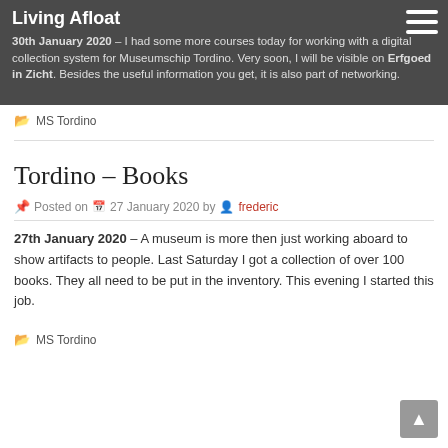Living Afloat
30th January 2020 – I had some more courses today for working with a digital collection system for Museumschip Tordino. Very soon, I will be visible on Erfgoed in Zicht. Besides the useful information you get, it is also part of networking.
MS Tordino
Tordino – Books
Posted on 27 January 2020 by frederic
27th January 2020 – A museum is more then just working aboard to show artifacts to people. Last Saturday I got a collection of over 100 books. They all need to be put in the inventory. This evening I started this job.
MS Tordino